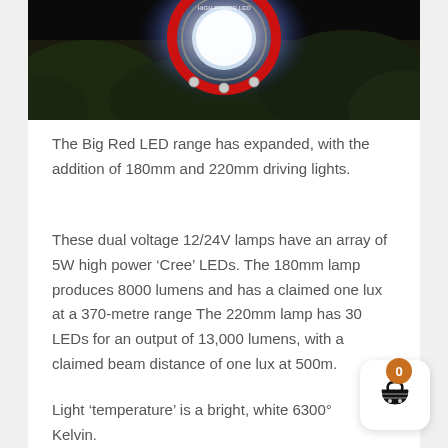[Figure (photo): Photo of a Big Red LED driving light mounted outdoors at night, showing a circular red-rimmed LED lamp against dark foliage background]
The Big Red LED range has expanded, with the addition of 180mm and 220mm driving lights.
These dual voltage 12/24V lamps have an array of 5W high power ‘Cree’ LEDs. The 180mm lamp produces 8000 lumens and has a claimed one lux at a 370-metre range The 220mm lamp has 30 LEDs for an output of 13,000 lumens, with a claimed beam distance of one lux at 500m.
Light ‘temperature’ is a bright, white 6300° Kelvin.